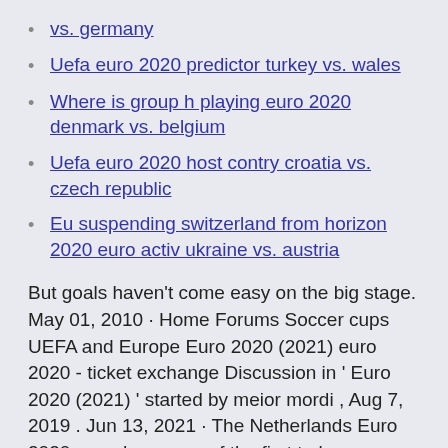vs. germany
Uefa euro 2020 predictor turkey vs. wales
Where is group h playing euro 2020 denmark vs. belgium
Uefa euro 2020 host contry croatia vs. czech republic
Eu suspending switzerland from horizon 2020 euro activ ukraine vs. austria
But goals haven’t come easy on the big stage. May 01, 2010 · Home Forums Soccer cups UEFA and Europe Euro 2020 (2021) euro 2020 - ticket exchange Discussion in ‘ Euro 2020 (2021) ’ started by meior mordi , Aug 7, 2019 . Jun 13, 2021 · The Netherlands Euro 2020 squad was one of the first to be confirmed